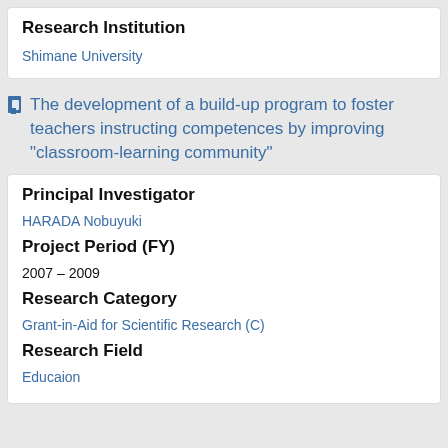Research Institution
Shimane University
The development of a build-up program to foster teachers instructing competences by improving "classroom-learning community"
Principal Investigator
HARADA Nobuyuki
Project Period (FY)
2007 – 2009
Research Category
Grant-in-Aid for Scientific Research (C)
Research Field
Educaion